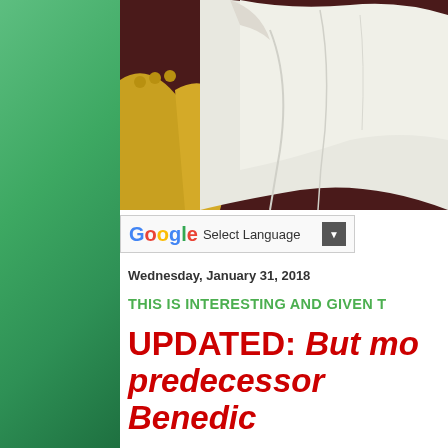[Figure (photo): Close-up photo of a person in white papal robes seated in a gilded gold chair, only the torso and robes visible against a dark background]
[Figure (screenshot): Google Translate 'Select Language' dropdown widget]
Wednesday, January 31, 2018
THIS IS INTERESTING AND GIVEN T
UPDATED: But mo predecessor Benedic